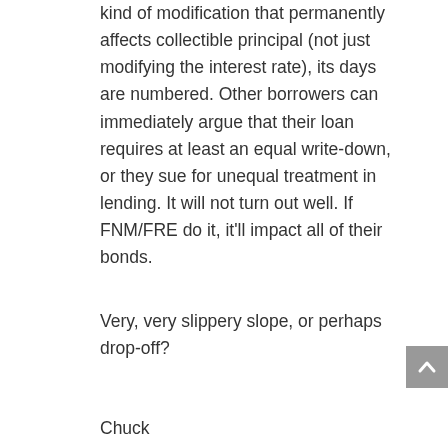kind of modification that permanently affects collectible principal (not just modifying the interest rate), its days are numbered. Other borrowers can immediately argue that their loan requires at least an equal write-down, or they sue for unequal treatment in lending. It will not turn out well. If FNM/FRE do it, it'll impact all of their bonds.
Very, very slippery slope, or perhaps drop-off?
Chuck